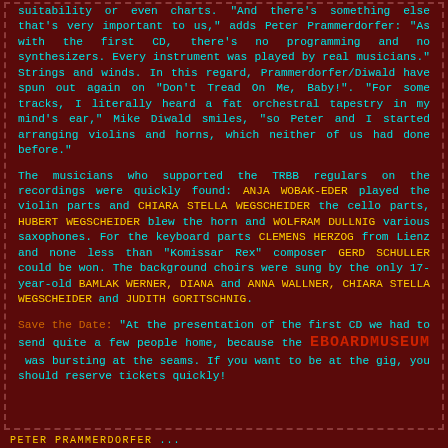suitability or even charts. "And there's something else that's very important to us," adds Peter Prammerdorfer: "As with the first CD, there's no programming and no synthesizers. Every instrument was played by real musicians." Strings and winds. In this regard, Prammerdorfer/Diwald have spun out again on "Don't Tread On Me, Baby!". "For some tracks, I literally heard a fat orchestral tapestry in my mind's ear," Mike Diwald smiles, "so Peter and I started arranging violins and horns, which neither of us had done before."
The musicians who supported the TRBB regulars on the recordings were quickly found: ANJA WOBAK-EDER played the violin parts and CHIARA STELLA WEGSCHEIDER the cello parts, HUBERT WEGSCHEIDER blew the horn and WOLFRAM DULLNIG various saxophones. For the keyboard parts CLEMENS HERZOG from Lienz and none less than "Komissar Rex" composer GERD SCHULLER could be won. The background choirs were sung by the only 17-year-old BAMLAK WERNER, DIANA and ANNA WALLNER, CHIARA STELLA WEGSCHEIDER and JUDITH GORITSCHNIG.
Save the Date: "At the presentation of the first CD we had to send quite a few people home, because the EBOARDMUSEUM was bursting at the seams. If you want to be at the gig, you should reserve tickets quickly!
PETER PRAMMERDORFER ...